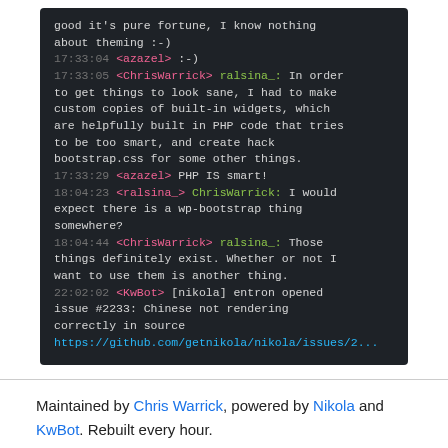[Figure (screenshot): Terminal/IRC chat log screenshot showing conversation between azazel, ChrisWarrick, ralsina_, and KwBot about WordPress theming, PHP code, bootstrap.css, and a GitHub issue link.]
Maintained by Chris Warrick, powered by Nikola and KwBot. Rebuilt every hour.